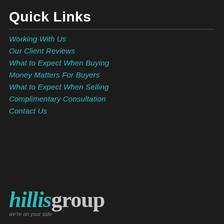Quick Links
Working With Us
Our Client Reviews
What to Expect When Buying
Money Matters For Buyers
What to Expect When Selling
Complimentary Consultation
Contact Us
[Figure (logo): hillisgroup logo with tagline 'we're on your side']